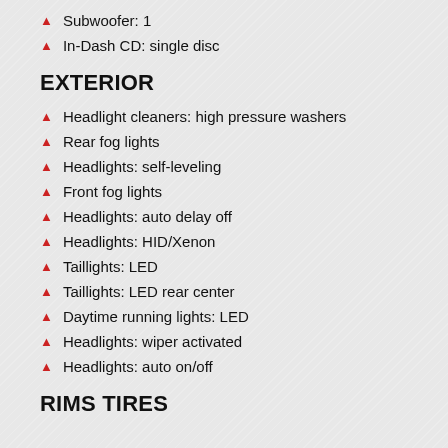Subwoofer: 1
In-Dash CD: single disc
EXTERIOR
Headlight cleaners: high pressure washers
Rear fog lights
Headlights: self-leveling
Front fog lights
Headlights: auto delay off
Headlights: HID/Xenon
Taillights: LED
Taillights: LED rear center
Daytime running lights: LED
Headlights: wiper activated
Headlights: auto on/off
RIMS TIRES